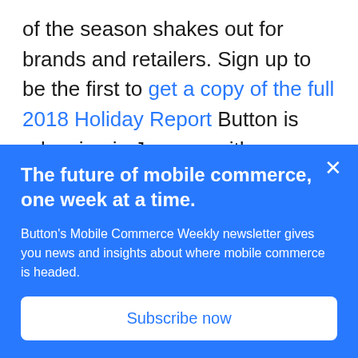of the season shakes out for brands and retailers. Sign up to be the first to get a copy of the full 2018 Holiday Report Button is releasing in January with even more mobile holiday insights.
Holidays
Mcommerce
Mobile Marketing
The future of mobile commerce, one week at a time.
Button's Mobile Commerce Weekly newsletter gives you news and insights about where mobile commerce is headed.
Subscribe now